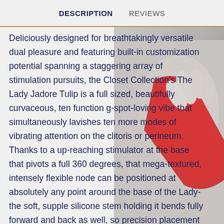DESCRIPTION   REVIEWS
Deliciously designed for breathtakingly versatile dual pleasure and featuring built-in customization potential spanning a staggering array of stimulation pursuits, the Closet Collection's The Lady Jadore Tulip is a full sized, beautifully curvaceous, ten function g-spot-loving vibe that simultaneously lavishes ten more modes of vibrating attention on the clitoris or perineum. Thanks to a up-reaching stimulator at the base that pivots a full 360 degrees, that mega-textured, intensely flexible node can be positioned at absolutely any point around the base of the Lady- the soft, supple silicone stem holding it bends fully forward and back as well, so precision placement goes without saying. Wonderfully unisex, this